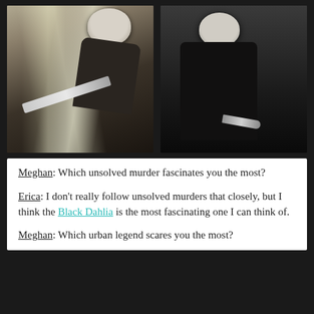[Figure (photo): Two side-by-side black and white / color photos of Michael Myers from Halloween, one looming over a staircase holding a knife, and one standing in darkness holding a knife.]
Meghan: Which unsolved murder fascinates you the most?
Erica: I don't really follow unsolved murders that closely, but I think the Black Dahlia is the most fascinating one I can think of.
Meghan: Which urban legend scares you the most?